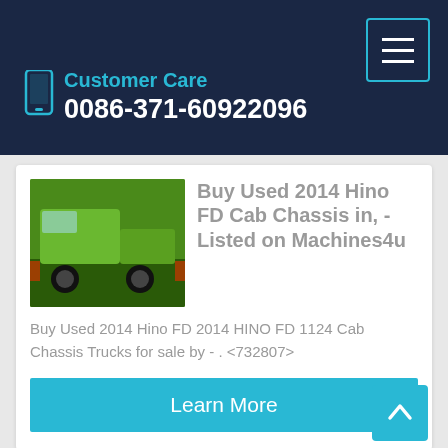Customer Care
0086-371-60922096
Buy Used 2014 Hino FD Cab Chassis in, - Listed on Machines4u
Buy Used 2014 Hino FD 2014 HINO FD 1124 Cab Chassis Trucks for sale by - . <732807>
Learn More
Truck equipment post 48 49 2014 by 1ClickAway - Issuu